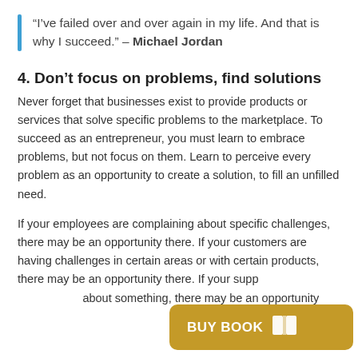“I’ve failed over and over again in my life. And that is why I succeed.” – Michael Jordan
4. Don’t focus on problems, find solutions
Never forget that businesses exist to provide products or services that solve specific problems to the marketplace. To succeed as an entrepreneur, you must learn to embrace problems, but not focus on them. Learn to perceive every problem as an opportunity to create a solution, to fill an unfilled need.
If your employees are complaining about specific challenges, there may be an opportunity there. If your customers are having challenges in certain areas or with certain products, there may be an opportunity there. If your suppliers are complaining about something, there may be an opportunity